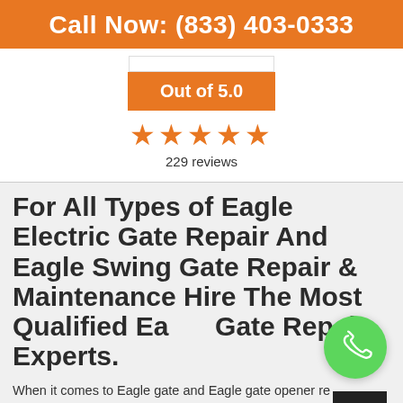Call Now: (833) 403-0333
[Figure (infographic): Rating widget showing 'Out of 5.0' badge in orange, five orange stars, and '229 reviews' text]
For All Types of Eagle Electric Gate Repair And Eagle Swing Gate Repair & Maintenance Hire The Most Qualified Eagle Gate Repair Experts.
When it comes to Eagle gate and Eagle gate opener repair in Claremont, California, it is important to understand that this is